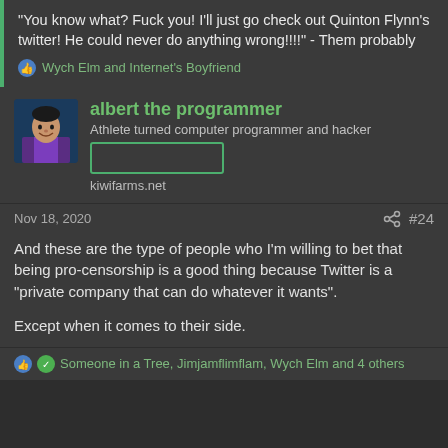"You know what? Fuck you! I'll just go check out Quinton Flynn's twitter! He could never do anything wrong!!!!" - Them probably
Wych Elm and Internet's Boyfriend
albert the programmer
Athlete turned computer programmer and hacker
kiwifarms.net
Nov 18, 2020
#24
And these are the type of people who I'm willing to bet that being pro-censorship is a good thing because Twitter is a “private company that can do whatever it wants”.

Except when it comes to their side.
Someone in a Tree, Jimjamflimflam, Wych Elm and 4 others